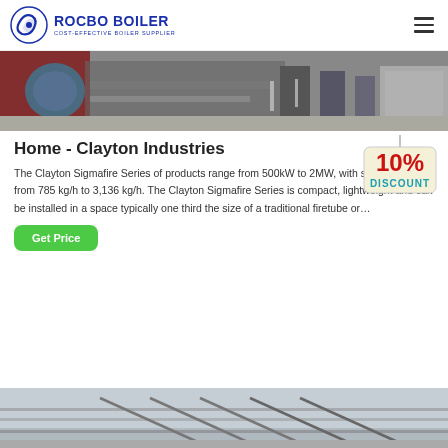ROCBO BOILER — COST-EFFECTIVE BOILER SUPPLIER
[Figure (photo): Industrial boiler machinery in a factory/warehouse setting, showing tubes, pipes and equipment.]
Home - Clayton Industries
[Figure (other): 10% DISCOUNT badge/tag hanging graphic in red and teal.]
The Clayton Sigmafire Series of products range from 500kW to 2MW, with steam outputs from 785 kg/h to 3,136 kg/h. The Clayton Sigmafire Series is compact, lightweight and can be installed in a space typically one third the size of a traditional firetube or…
Get Price
[Figure (photo): Partial view of another industrial boiler or steam system installation, showing pipes and steel structures against a grey sky.]